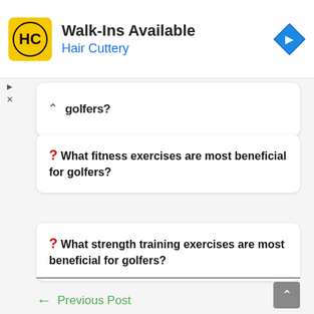[Figure (infographic): Hair Cuttery advertisement banner with logo, 'Walk-Ins Available' headline, and navigation arrow icon]
golfers?
? What fitness exercises are most beneficial for golfers?
? What strength training exercises are most beneficial for golfers?
← Previous Post